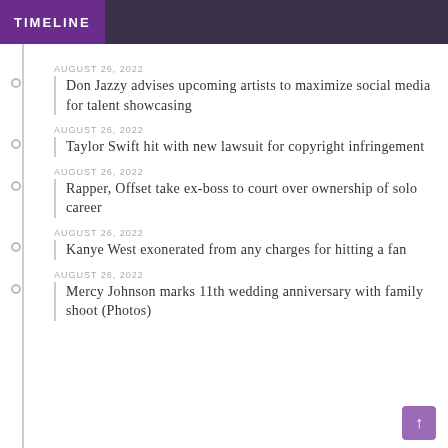TIMELINE
AUGUST 26, 2022
Don Jazzy advises upcoming artists to maximize social media for talent showcasing
AUGUST 26, 2022
Taylor Swift hit with new lawsuit for copyright infringement
AUGUST 26, 2022
Rapper, Offset take ex-boss to court over ownership of solo career
AUGUST 26, 2022
Kanye West exonerated from any charges for hitting a fan
AUGUST 26, 2022
Mercy Johnson marks 11th wedding anniversary with family shoot (Photos)